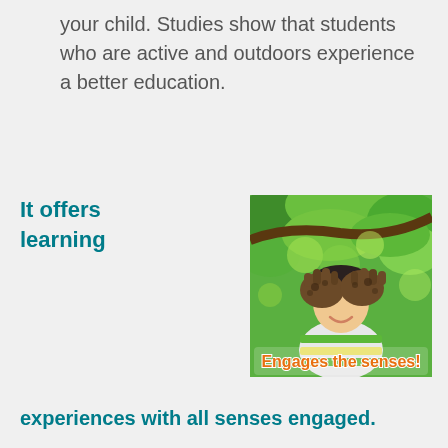your child. Studies show that students who are active and outdoors experience a better education.
It offers learning
[Figure (photo): A young child holding up muddy hands over their face, smiling, outdoors among green trees. Text overlay reads 'Engages the senses!']
experiences with all senses engaged.